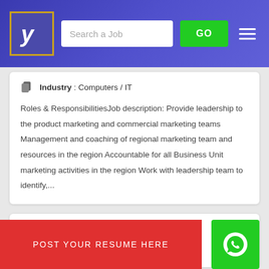[Figure (screenshot): Job portal website header with logo, search bar, GO button, and hamburger menu on a blue/purple gradient background]
Industry : Computers / IT
Roles & ResponsibilitiesJob description: Provide leadership to the product marketing and commercial marketing teams Management and coaching of regional marketing team and resources in the region Accountable for all Business Unit marketing activities in the region Work with leadership team to identify,...
Senior Executive (ta Marketing And C...
POST YOUR RESUME HERE